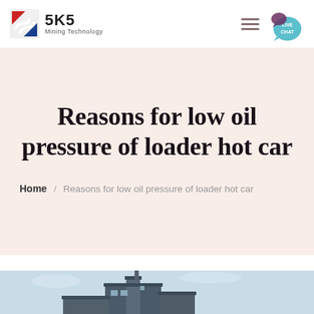SKS Mining Technology
Reasons for low oil pressure of loader hot car
Home / Reasons for low oil pressure of loader hot car
[Figure (photo): Exterior photo of an industrial building or facility with blue sky background, partially visible at the bottom of the page.]